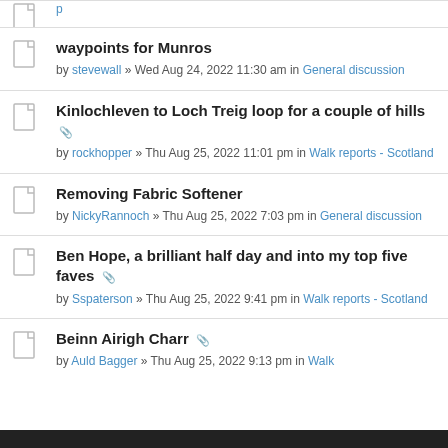waypoints for Munros — by stevewall » Wed Aug 24, 2022 11:30 am in General discussion
Kinlochleven to Loch Treig loop for a couple of hills [attachment] — by rockhopper » Thu Aug 25, 2022 11:01 pm in Walk reports - Scotland
Removing Fabric Softener — by NickyRannoch » Thu Aug 25, 2022 7:03 pm in General discussion
Ben Hope, a brilliant half day and into my top five faves [attachment] — by Sspaterson » Thu Aug 25, 2022 9:41 pm in Walk reports - Scotland
Beinn Airigh Charr [attachment] — by Auld Bagger » Thu Aug 25, 2022 9:13 pm in Walk